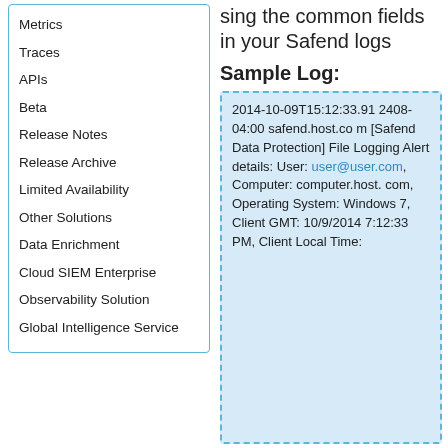Metrics
Traces
APIs
Beta
Release Notes
Release Archive
Limited Availability
Other Solutions
Data Enrichment
Cloud SIEM Enterprise
Observability Solution
Global Intelligence Service
sing the common fields in your Safend logs
Sample Log:
2014-10-09T15:12:33.912408-04:00 safend.host.com [Safend Data Protection] File Logging Alert details: User: user@user.com, Computer: computer.host.com, Operating System: Windows 7, Client GMT: 10/9/2014 7:12:33 PM, Client Local Time: